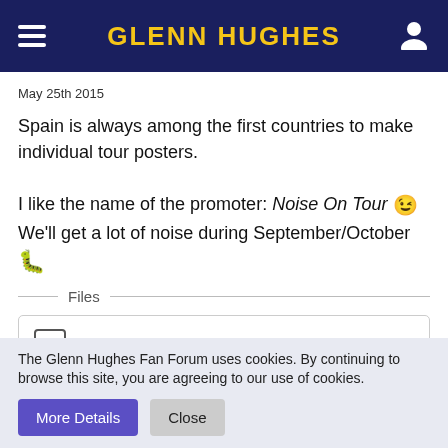GLENN HUGHES
May 25th 2015
Spain is always among the first countries to make individual tour posters.

I like the name of the promoter: Noise On Tour 😉 We'll get a lot of noise during September/October 🐛
Files
2015_5_23_DcaW6g3WnBsbTQmprUIKj5.jpg
84.18 kB – 41 Downloads
The Glenn Hughes Fan Forum uses cookies. By continuing to browse this site, you are agreeing to our use of cookies.